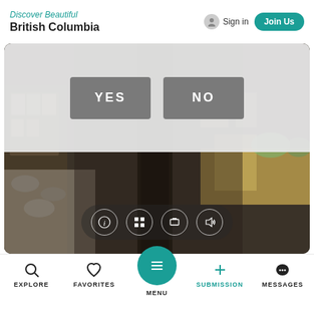Discover Beautiful British Columbia | Sign in | Join Us
[Figure (screenshot): A 360 panorama view of an indoor shop/gallery space with stone wall, wooden shelving, and a table with items. An overlay modal with YES and NO buttons is shown, along with bottom control icons (info, grid, fullscreen, audio).]
EXPLORE  FAVORITES  MENU  SUBMISSION  MESSAGES